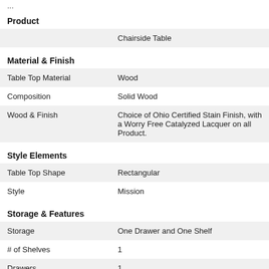| Product |  |
|  | Chairside Table |
| Material & Finish |  |
| Table Top Material | Wood |
| Composition | Solid Wood |
| Wood & Finish | Choice of Ohio Certified Stain Finish, with a Worry Free Catalyzed Lacquer on all Product. |
| Style Elements |  |
| Table Top Shape | Rectangular |
| Style | Mission |
| Storage & Features |  |
| Storage | One Drawer and One Shelf |
| # of Shelves | 1 |
| Drawers | 1 |